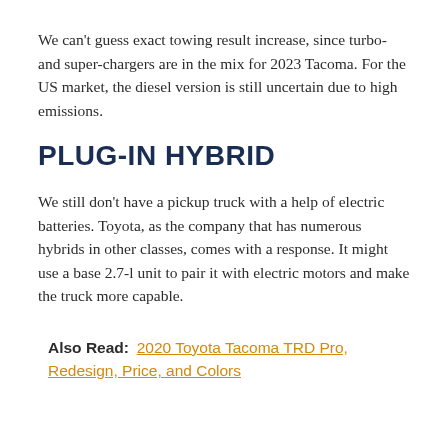We can't guess exact towing result increase, since turbo- and super-chargers are in the mix for 2023 Tacoma. For the US market, the diesel version is still uncertain due to high emissions.
PLUG-IN HYBRID
We still don't have a pickup truck with a help of electric batteries. Toyota, as the company that has numerous hybrids in other classes, comes with a response. It might use a base 2.7-l unit to pair it with electric motors and make the truck more capable.
Also Read: 2020 Toyota Tacoma TRD Pro, Redesign, Price, and Colors